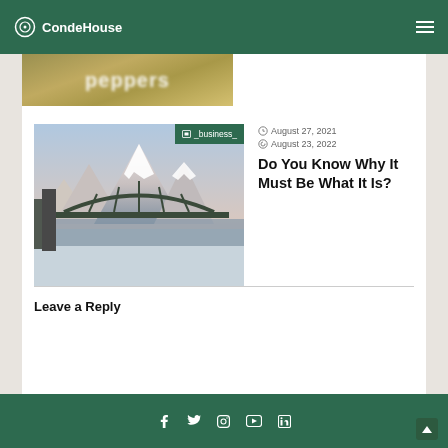CondeHouse
[Figure (photo): Partial view of a 'peppers' article thumbnail image, cropped at top]
[Figure (photo): Bridge with snow-capped mountains, tagged _business_]
August 27, 2021
August 23, 2022
Do You Know Why It Must Be What It Is?
Leave a Reply
Social media icons: Facebook, Twitter, Instagram, YouTube, LinkedIn